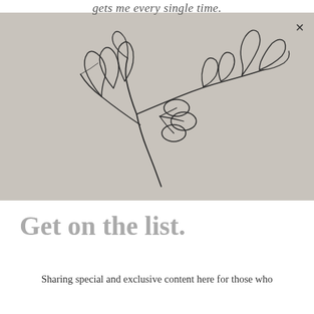gets me every single time.
[Figure (illustration): Line art drawing of an olive branch with leaves and three oval olives, rendered in black on a warm beige/gray background.]
Get on the list.
Sharing special and exclusive content here for those who